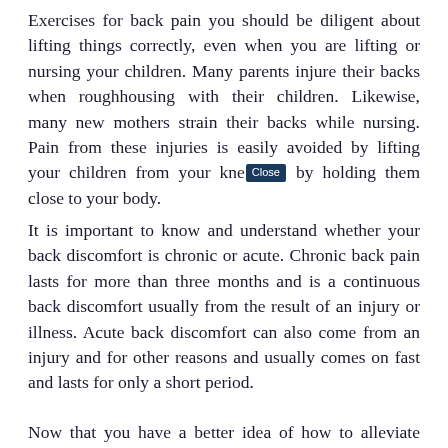Exercises for back pain you should be diligent about lifting things correctly, even when you are lifting or nursing your children. Many parents injure their backs when roughhousing with their children. Likewise, many new mothers strain their backs while nursing. Pain from these injuries is easily avoided by lifting your children from your knees and by holding them close to your body.
It is important to know and understand whether your back discomfort is chronic or acute. Chronic back pain lasts for more than three months and is a continuous back discomfort usually from the result of an injury or illness. Acute back discomfort can also come from an injury and for other reasons and usually comes on fast and lasts for only a short period.
Now that you have a better idea of how to alleviate your